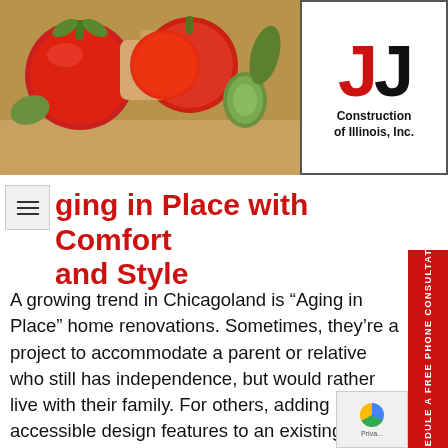[Figure (photo): Kitchen scene with vegetables (tomatoes, cucumbers) on a cutting board, and a JJ Construction of Illinois, Inc. logo in the top right corner]
ging in Place with Comfort and Style
A growing trend in Chicagoland is “Aging in Place” home renovations. Sometimes, they’re a project to accommodate a parent or relative who still has independence, but would rather live with their family. For others, adding accessible design features to an existing home allows them to remain there as they grow older. The concept of “accessible design” can be broad when you’re designing a room addition, addressing bathroom or kitchen remodeling, and add updates to your current home. Every situation is different, of course - and it can pe